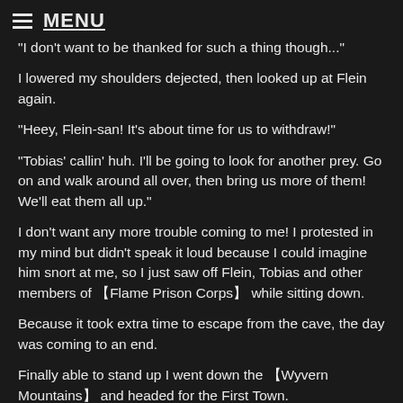MENU
"I don't want to be thanked for such a thing though..."
I lowered my shoulders dejected, then looked up at Flein again.
"Heey, Flein-san! It's about time for us to withdraw!"
"Tobias' callin' huh. I'll be going to look for another prey. Go on and walk around all over, then bring us more of them! We'll eat them all up."
I don't want any more trouble coming to me! I protested in my mind but didn't speak it loud because I could imagine him snort at me, so I just saw off Flein, Tobias and other members of 【Flame Prison Corps】 while sitting down.
Because it took extra time to escape from the cave, the day was coming to an end.
Finally able to stand up I went down the 【Wyvern Mountains】 and headed for the First Town.
However, the sun has set increasingly faster, faster than I could run with my speed enchant. After getting down from